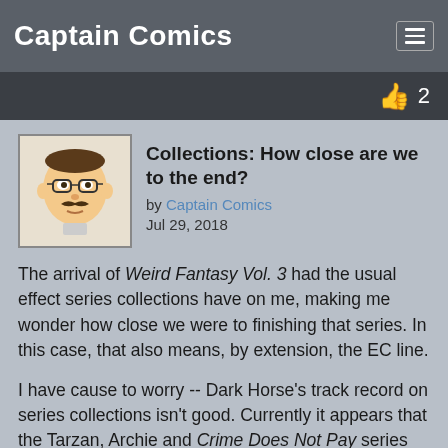Captain Comics
Collections: How close are we to the end?
by Captain Comics
Jul 29, 2018
The arrival of Weird Fantasy Vol. 3 had the usual effect series collections have on me, making me wonder how close we were to finishing that series. In this case, that also means, by extension, the EC line.
I have cause to worry -- Dark Horse's track record on series collections isn't good. Currently it appears that the Tarzan, Archie and Crime Does Not Pay series have all stalled at nowhere near the end.
Anyway, I felt we were close enough to make a summary worthwhile. Here's where I think we are: